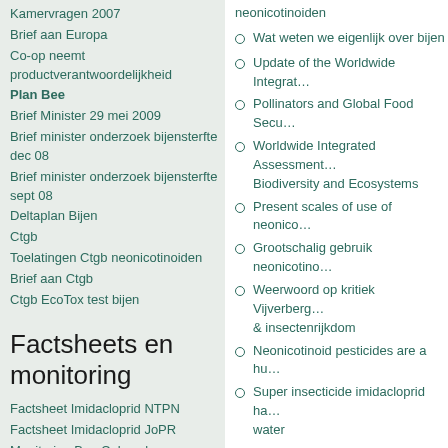Kamervragen 2007
Brief aan Europa
Co-op neemt productverantwoordelijkheid
Plan Bee
Brief Minister 29 mei 2009
Brief minister onderzoek bijensterfte dec 08
Brief minister onderzoek bijensterfte sept 08
Deltaplan Bijen
Ctgb
Toelatingen Ctgb neonicotinoiden
Brief aan Ctgb
Ctgb EcoTox test bijen
Factsheets en monitoring
Factsheet Imidacloprid NTPN
Factsheet Imidacloprid JoPR
Monitoring Bee Colony losses
neonicotinoiden
Wat weten we eigenlijk over bijen
Update of the Worldwide Integrat…
Pollinators and Global Food Secu…
Worldwide Integrated Assessment… Biodiversity and Ecosystems
Present scales of use of neonico…
Grootschalig gebruik neonicotino…
Weerwoord op kritiek Vijverberg… & insectenrijkdom
Neonicotinoid pesticides are a hu…
Super insecticide imidacloprid ha… water
Brits Lagerhuis wil unanim een v…
Late lessen uit vroege waarschuw…
Handbestuiving in China en de Z… door bocht of storm in glas peren…
Partij voor de Dieren wil onmidde…
EFSA identifies risks to bees from…